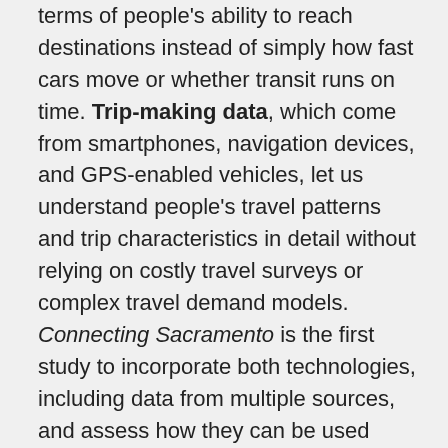terms of people's ability to reach destinations instead of simply how fast cars move or whether transit runs on time. Trip-making data, which come from smartphones, navigation devices, and GPS-enabled vehicles, let us understand people's travel patterns and trip characteristics in detail without relying on costly travel surveys or complex travel demand models. Connecting Sacramento is the first study to incorporate both technologies, including data from multiple sources, and assess how they can be used together to guide transportation- and land use-related decisions. This study focused specifically on opportunities to improve first- and last-mile connections to light rail transit in Sacramento, but its findings are widely applicable. Key outcomes are: